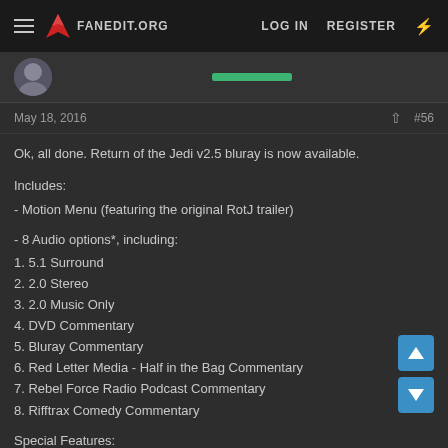FANEDIT.ORG | LOG IN | REGISTER
May 18, 2016  #56
Ok, all done. Return of the Jedi v2.5 bluray is now available.
Includes:
- Motion Menu (featuring the original RotJ trailer)
- 8 Audio options*, including:
1. 5.1 Surround
2. 2.0 Stereo
3. 2.0 Music Only
4. DVD Commentary
5. Bluray Commentary
6. Red Letter Media - Half in the Bag Commentary
7. Rebel Force Radio Podcast Commentary
8. Rifftrax Comedy Commentary
Special Features: